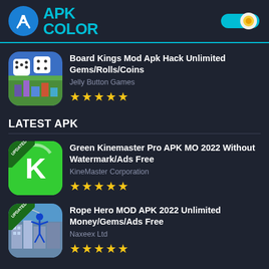APK COLOR
Board Kings Mod Apk Hack Unlimited Gems/Rolls/Coins
Jelly Button Games
★★★★★
LATEST APK
Green Kinemaster Pro APK MO 2022 Without Watermark/Ads Free
KineMaster Corporation
★★★★★
Rope Hero MOD APK 2022 Unlimited Money/Gems/Ads Free
Naxeex Ltd
★★★★★